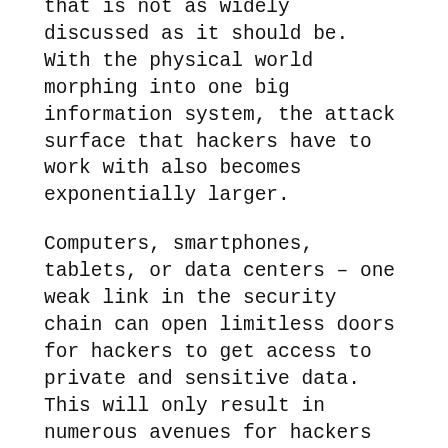that is not as widely discussed as it should be. With the physical world morphing into one big information system, the attack surface that hackers have to work with also becomes exponentially larger.
Computers, smartphones, tablets, or data centers – one weak link in the security chain can open limitless doors for hackers to get access to private and sensitive data. This will only result in numerous avenues for hackers to disrupt, degrade, and destroy the economic prosperity and opportunities created through the IoT.
As the technology industry continues to innovate and build devices to function in an interconnected environment, data center providers need to evaluate security needs with a new mindset. They must consider that future security will be automatically managed by systems instead of physical users, and ensure that the right strategies are in place to